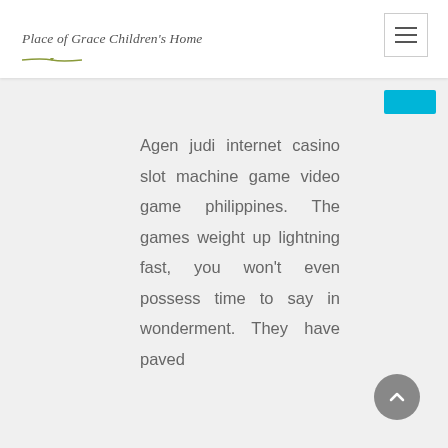Place of Grace Children's Home
Agen judi internet casino slot machine game video game philippines. The games weight up lightning fast, you won't even possess time to say in wonderment. They have paved